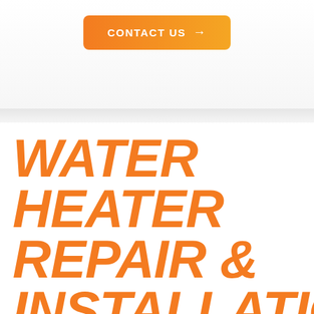[Figure (other): Orange gradient 'CONTACT US →' button at the top of the page]
WATER HEATER REPAIR & INSTALLATION